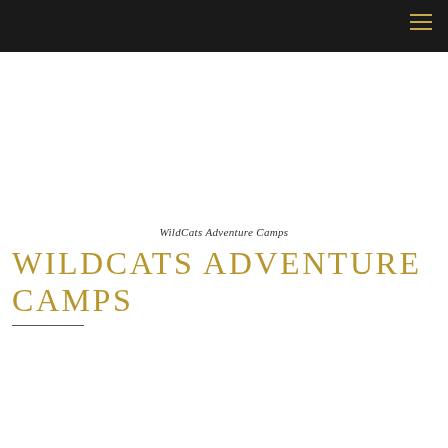WildCats Adventure Camps
WILDCATS ADVENTURE CAMPS